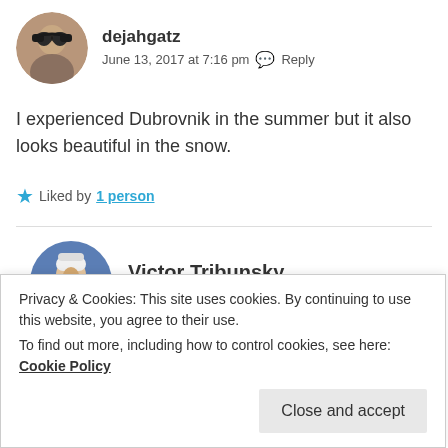dejahgatz
June 13, 2017 at 7:16 pm  Reply
I experienced Dubrovnik in the summer but it also looks beautiful in the snow.
Liked by 1 person
Victor Tribunsky
June 14, 2017 at 12:04 am  Reply
Privacy & Cookies: This site uses cookies. By continuing to use this website, you agree to their use.
To find out more, including how to control cookies, see here: Cookie Policy
Close and accept